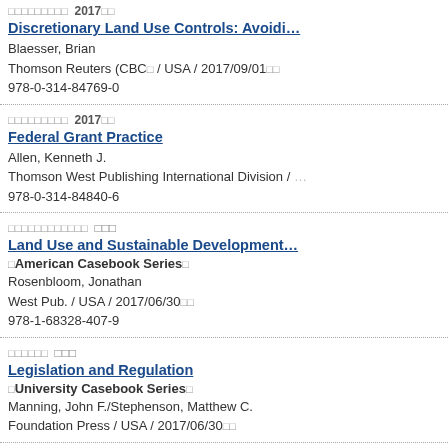Discretionary Land Use Controls: Avoiding Invitations to Abuse of Discretion — Blaesser, Brian — Thomson Reuters (CBC / USA / 2017/09/01) — 978-0-314-84769-0
Federal Grant Practice — Allen, Kenneth J. — Thomson West Publishing International Division — 978-0-314-84840-6
Land Use and Sustainable Development — [American Casebook Series] — Rosenbloom, Jonathan — West Pub. / USA / 2017/06/30 — 978-1-68328-407-9
Legislation and Regulation — [University Casebook Series] — Manning, John F./Stephenson, Matthew C. — Foundation Press / USA / 2017/06/30